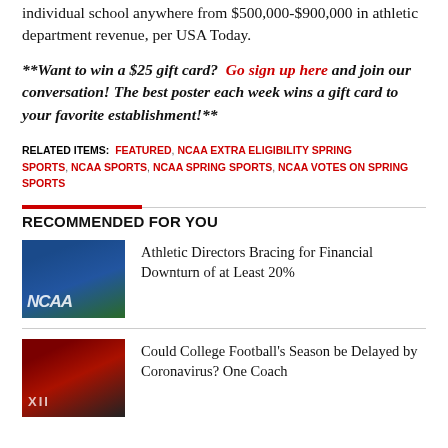individual school anywhere from $500,000-$900,000 in athletic department revenue, per USA Today.
**Want to win a $25 gift card?  Go sign up here and join our conversation! The best poster each week wins a gift card to your favorite establishment!**
RELATED ITEMS: FEATURED, NCAA EXTRA ELIGIBILITY SPRING SPORTS, NCAA SPORTS, NCAA SPRING SPORTS, NCAA VOTES ON SPRING SPORTS
RECOMMENDED FOR YOU
[Figure (photo): NCAA logo on blue/green field surface]
Athletic Directors Bracing for Financial Downturn of at Least 20%
[Figure (photo): College football field with Big 12 logo]
Could College Football's Season be Delayed by Coronavirus? One Coach